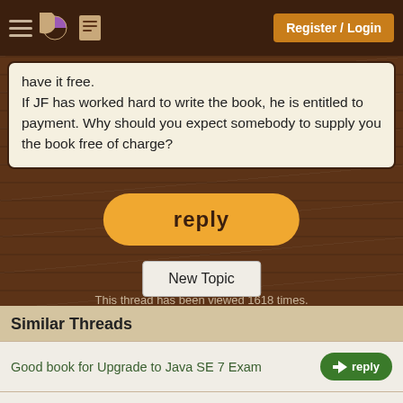Register / Login
have it free.
If JF has worked hard to write the book, he is entitled to payment. Why should you expect somebody to supply you the book free of charge?
reply
New Topic
This thread has been viewed 1618 times.
Similar Threads
Good book for Upgrade to Java SE 7 Exam
Any JavaFX